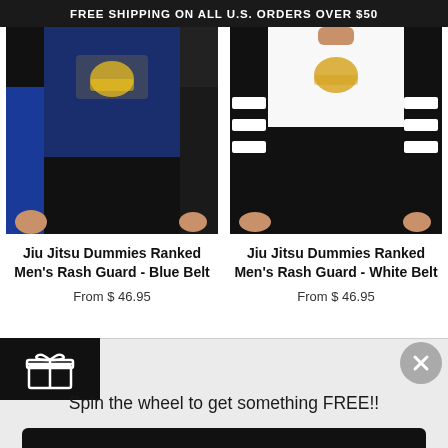FREE SHIPPING ON ALL U.S. ORDERS OVER $50
[Figure (photo): Man wearing Jiu Jitsu Dummies Ranked Men's Rash Guard in Blue Belt design – blue and black long-sleeve top with logo graphic on chest]
[Figure (photo): Man wearing Jiu Jitsu Dummies Ranked Men's Rash Guard in White Belt design – black long-sleeve top with white stripe pattern on sleeves and logo on chest]
Jiu Jitsu Dummies Ranked Men's Rash Guard - Blue Belt
From $ 46.95
Jiu Jitsu Dummies Ranked Men's Rash Guard - White Belt
From $ 46.95
[Figure (illustration): Gift/present icon in white on black background]
Spin the wheel to get something FREE!!
Spin the Wheel!